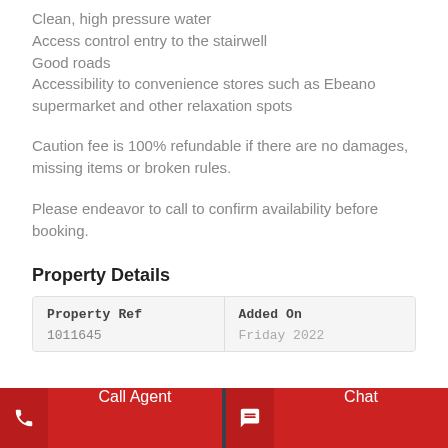Clean, high pressure water
Access control entry to the stairwell
Good roads
Accessibility to convenience stores such as Ebeano supermarket and other relaxation spots
Caution fee is 100% refundable if there are no damages, missing items or broken rules.
Please endeavor to call to confirm availability before booking.
Property Details
| Property Ref | Added On |
| --- | --- |
| 1011645 | Friday 2022 |